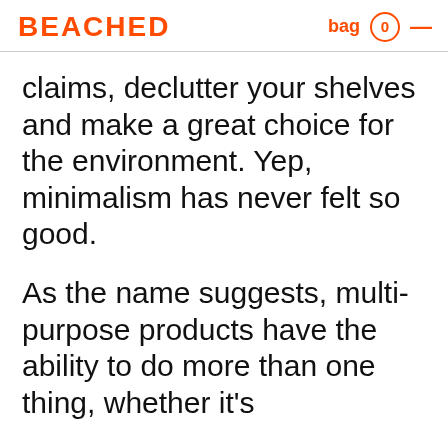BEACHED | bag 0 ☰
claims, declutter your shelves and make a great choice for the environment. Yep, minimalism has never felt so good.
As the name suggests, multi-purpose products have the ability to do more than one thing, whether it's